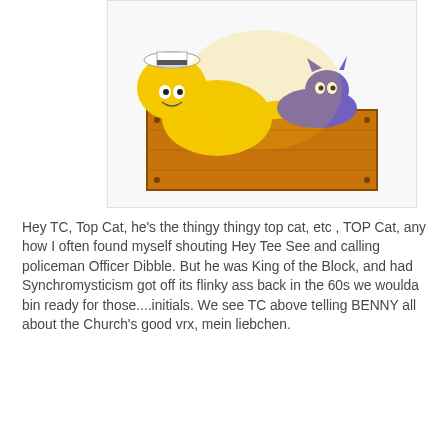[Figure (illustration): Cartoon illustration of Top Cat (yellow cat character) leaning on a wooden crate/trash can, with a purple cat on top. Colorful cartoon style from the Top Cat animated series.]
Hey TC, Top Cat, he's the thingy thingy top cat, etc , TOP Cat, any how I often found myself shouting Hey Tee See and calling policeman Officer Dibble. But he was King of the Block, and had Synchromysticism got off its flinky ass back in the 60s we woulda bin ready for those....initials. We see TC above telling BENNY all about the Church's good vrx, mein liebchen.
[Figure (photo): Movie poster or VHS cover for 'The Seventh Sign' featuring Demi Moore. Shows text 'DEMI MOORE' at top, then 'THE SEVENTH SIGN' in large serif letters, with a dark image below showing a silhouetted figure.]